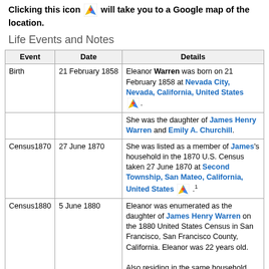Clicking this icon will take you to a Google map of the location.
Life Events and Notes
| Event | Date | Details |
| --- | --- | --- |
| Birth | 21 February 1858 | Eleanor Warren was born on 21 February 1858 at Nevada City, Nevada, California, United States. She was the daughter of James Henry Warren and Emily A. Churchill. |
| Census1870 | 27 June 1870 | She was listed as a member of James's household in the 1870 U.S. Census taken 27 June 1870 at Second Township, San Mateo, California, United States. [1] |
| Census1880 | 5 June 1880 | Eleanor was enumerated as the daughter of James Henry Warren on the 1880 United States Census in San Francisco, San Francisco County, California. Eleanor was 22 years old.

Also residing in the same household were Emily A. Churchill, Anna Churchill Warren, Clarence Harrison Warren, Mary Stuart Warren, Helena Pietrzycki and Warren Pietrzycki. [2] |
| Census1900 | 9 June 1900 | Eleanor was enumerated as the daughter of James Henry Warren on the 1900 United... |